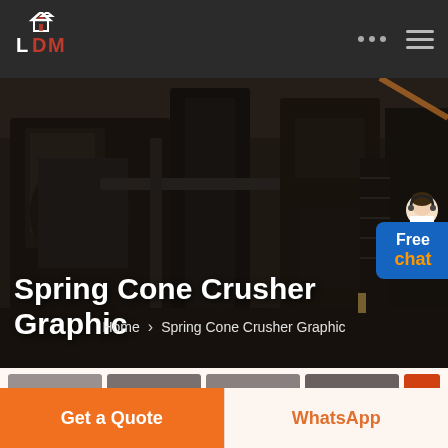LDM
Spring Cone Crusher Graphic
Home > Spring Cone Crusher Graphic
[Figure (screenshot): Industrial machinery / factory interior background photo with dark overlay, showing large processing equipment]
Free
chat
[Figure (photo): Thumbnail strip of product images at bottom of page, partially visible]
Get a Quote
WhatsApp